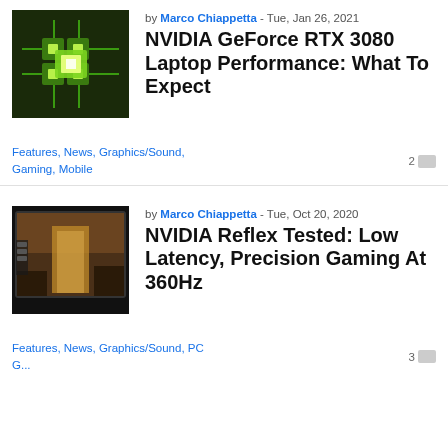[Figure (photo): Green glowing GPU chip illustration on circuit board background]
by Marco Chiappetta - Tue, Jan 26, 2021
NVIDIA GeForce RTX 3080 Laptop Performance: What To Expect
Features, News, Graphics/Sound, Gaming, Mobile    2
[Figure (screenshot): Game screenshot showing first-person view on monitor]
by Marco Chiappetta - Tue, Oct 20, 2020
NVIDIA Reflex Tested: Low Latency, Precision Gaming At 360Hz
Features, News, Graphics/Sound, PC    3